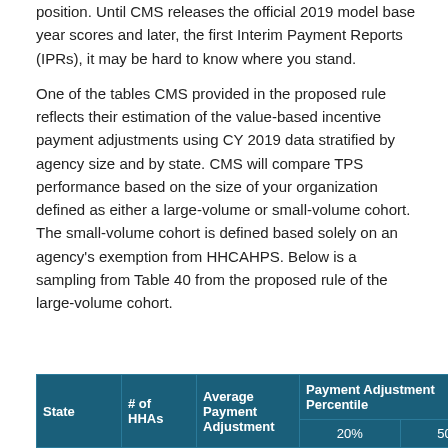position. Until CMS releases the official 2019 model base year scores and later, the first Interim Payment Reports (IPRs), it may be hard to know where you stand.
One of the tables CMS provided in the proposed rule reflects their estimation of the value-based incentive payment adjustments using CY 2019 data stratified by agency size and by state. CMS will compare TPS performance based on the size of your organization defined as either a large-volume or small-volume cohort. The small-volume cohort is defined based solely on an agency's exemption from HHCAHPS. Below is a sampling from Table 40 from the proposed rule of the large-volume cohort.
| State | # of HHAs | Average Payment Adjustment | Payment Adjustment Percentile 20% | Payment Adjustment Percentile 50% |
| --- | --- | --- | --- | --- |